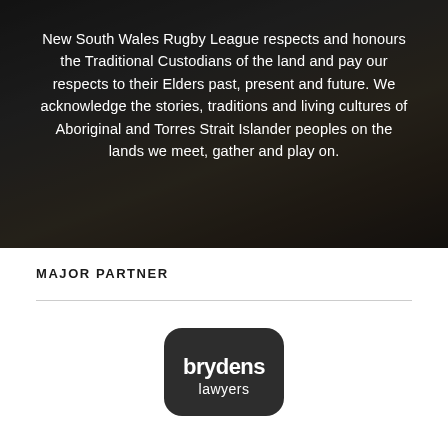[Figure (photo): Dark background photo of a person, dimly lit, with overlay text acknowledging Traditional Custodians]
New South Wales Rugby League respects and honours the Traditional Custodians of the land and pay our respects to their Elders past, present and future. We acknowledge the stories, traditions and living cultures of Aboriginal and Torres Strait Islander peoples on the lands we meet, gather and play on.
MAJOR PARTNER
[Figure (logo): Brydens Lawyers logo — dark rounded rectangle with white text 'brydens lawyers']